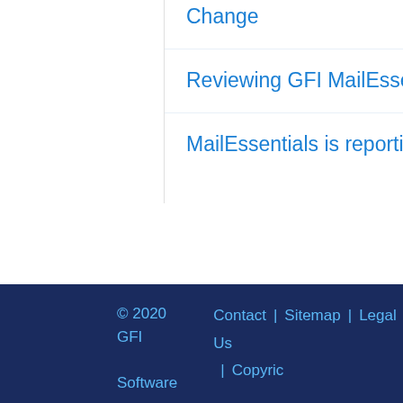Change
Reviewing GFI MailEssentials License Key Information
MailEssentials is reporting too many licensed users
© 2020 GFI Software   Contact Us  |  Sitemap  |  Legal  |  Copyrig…